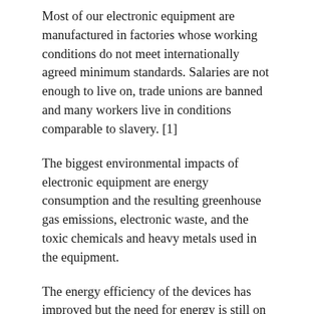Most of our electronic equipment are manufactured in factories whose working conditions do not meet internationally agreed minimum standards. Salaries are not enough to live on, trade unions are banned and many workers live in conditions comparable to slavery. [1]
The biggest environmental impacts of electronic equipment are energy consumption and the resulting greenhouse gas emissions, electronic waste, and the toxic chemicals and heavy metals used in the equipment.
The energy efficiency of the devices has improved but the need for energy is still on the rise as more and more energy is needed for digital media storage and data processing.
Tens of millions of tonnes of electronic waste are generated every year. From Europe, e.g. Nigeria and Ghana leave Europe with a lot of “reusable” equipment that ends up directly in a landfill. An estimated 5-13% of e-waste in the EU